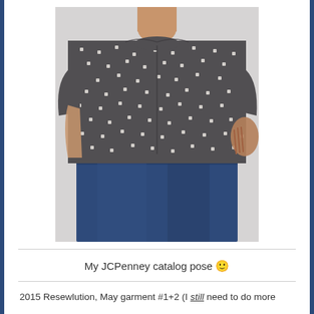[Figure (photo): A woman wearing a dark grey/charcoal polka dot short-sleeve blouse and dark blue jeans, posed with one hand on hip in a catalog-style pose. Only the torso is visible, no head shown.]
My JCPenney catalog pose 🙂
2015 Resewlution, May garment #1+2 (I still need to do more